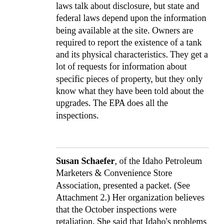laws talk about disclosure, but state and federal laws depend upon the information being available at the site. Owners are required to report the existence of a tank and its physical characteristics. They get a lot of requests for information about specific pieces of property, but they only know what they have been told about the upgrades. The EPA does all the inspections.
Susan Schaefer, of the Idaho Petroleum Marketers & Convenience Store Association, presented a packet. (See Attachment 2.) Her organization believes that the October inspections were retaliation. She said that Idaho's problems with LUSTs are mainly on old, abandoned storage tanks. She said that tanks must be in compliance to get